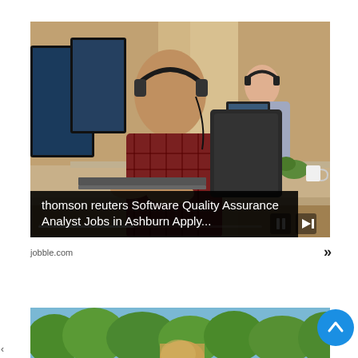[Figure (photo): Photo of two office workers wearing headphones sitting at desks with computers and laptops, warm office environment with large windows]
thomson reuters Software Quality Assurance Analyst Jobs in Ashburn Apply...
jobble.com
[Figure (photo): Partial photo of a woman with blonde hair outdoors with green trees in background]